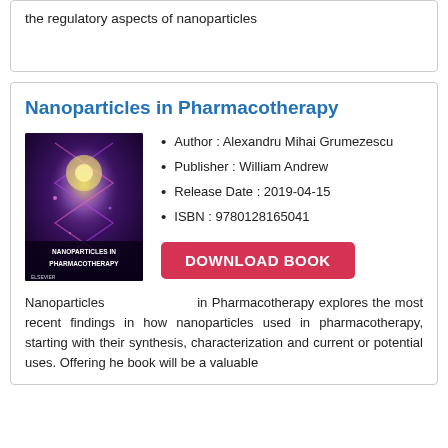the regulatory aspects of nanoparticles
Nanoparticles in Pharmacotherapy
[Figure (photo): Book cover of 'Nanoparticles in Pharmacotherapy' showing a purple/violet scientific background with DNA helix imagery and white text at the bottom reading 'NANOPARTICLES IN PHARMACOTHERAPY'.]
Author : Alexandru Mihai Grumezescu
Publisher : William Andrew
Release Date : 2019-04-15
ISBN : 9780128165041
DOWNLOAD BOOK
Nanoparticles in Pharmacotherapy explores the most recent findings in how nanoparticles used in pharmacotherapy, starting with their synthesis, characterization and current or potential uses. Offering he book will be a valuable